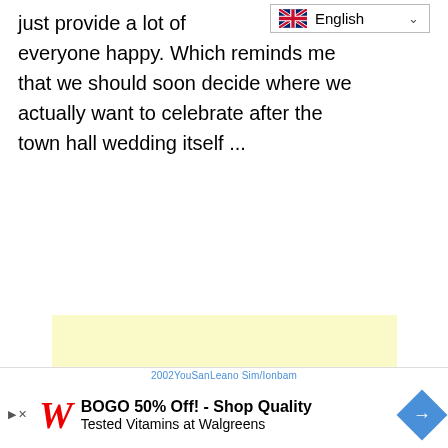just provide a lot of everyone happy. Which reminds me that we should soon decide where we actually want to celebrate after the town hall wedding itself ...
[Figure (other): Light yellow rectangular advertisement placeholder box]
[Figure (screenshot): Bottom advertisement bar showing Walgreens BOGO 50% Off - Shop Quality Tested Vitamins at Walgreens ad with W logo and blue diamond navigation icon]